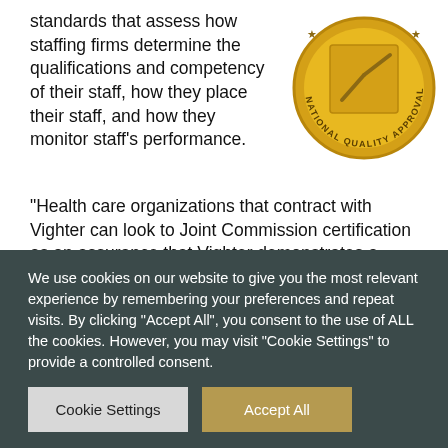standards that assess how staffing firms determine the qualifications and competency of their staff, how they place their staff, and how they monitor staff's performance.
[Figure (logo): Gold circular seal reading 'National Quality Approval' with a checkmark/slash design in the center]
“Health care organizations that contract with Vighter can look to Joint Commission certification as an assurance that Vighter demonstrates a commitment to providing and continuously improving quality services,” says Patrick Phelan, executive director, Hospital
We use cookies on our website to give you the most relevant experience by remembering your preferences and repeat visits. By clicking “Accept All”, you consent to the use of ALL the cookies. However, you may visit “Cookie Settings” to provide a controlled consent.
Cookie Settings
Accept All